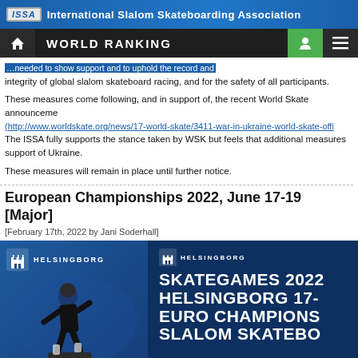ISSA International Slalom Skateboarding Association
WORLD RANKING
integrity of global slalom skateboard racing, and for the safety of all participants.
These measures come following, and in support of, the recent World Skate announcement (http://www.worldskate.org/news/17-world-skate/3411-war-in-ukraine-world-skate-offi...). The ISSA fully supports the stance taken by WSK but feels that additional measures are needed in support of Ukraine.
These measures will remain in place until further notice.
European Championships 2022, June 17-19 [Major]
[February 17th, 2022 by Jani Soderhall]
[Figure (photo): Banner image for Skategames 2022 Helsingborg Euro Championships Slalom Skateboarding event, showing a skateboarder on the left and bold white text on blue background on the right with Helsingborg city logo.]